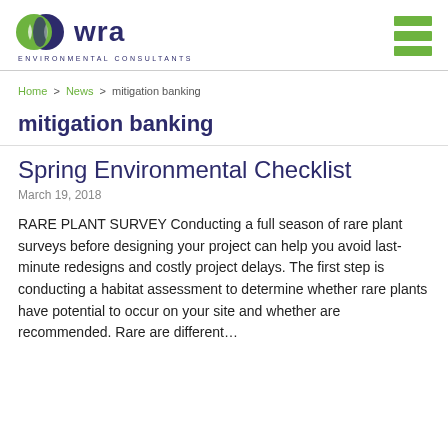[Figure (logo): WRA Environmental Consultants logo with green and purple overlapping leaf/circle graphic, text 'wra' in purple bold, subtitle 'ENVIRONMENTAL CONSULTANTS']
[Figure (other): Hamburger menu icon with three green horizontal bars]
Home > News > mitigation banking
mitigation banking
Spring Environmental Checklist
March 19, 2018
RARE PLANT SURVEY Conducting a full season of rare plant surveys before designing your project can help you avoid last-minute redesigns and costly project delays. The first step is conducting a habitat assessment to determine whether rare plants have potential to occur on your site and whether are recommended. Rare are different…